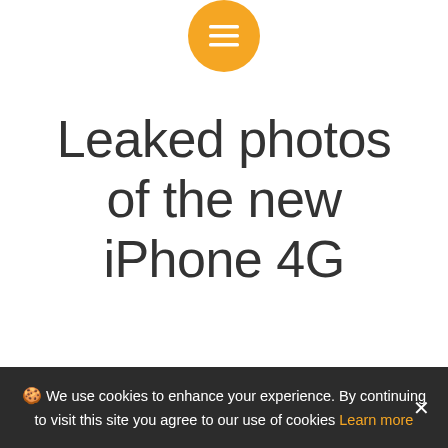[Figure (other): Orange circular menu button with hamburger/lines icon centered at top of page]
Leaked photos of the new iPhone 4G
By / April 17, 2010 / No Comments
🍪 We use cookies to enhance your experience. By continuing to visit this site you agree to our use of cookies Learn more ✕